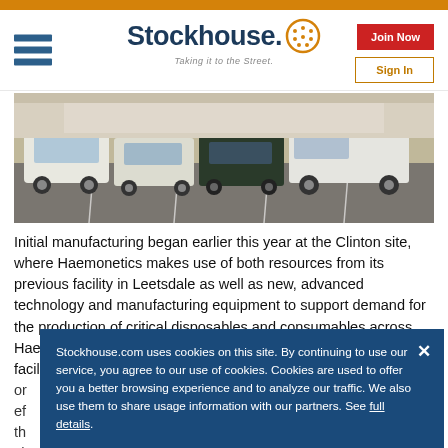Stockhouse — Taking it to the Street.
[Figure (photo): Cars parked in a dealership or facility parking lot, viewed from behind. Multiple vehicles including white SUV, white sedan, dark sedan, and white pickup truck.]
Initial manufacturing began earlier this year at the Clinton site, where Haemonetics makes use of both resources from its previous facility in Leetsdale as well as new, advanced technology and manufacturing equipment to support demand for the production of critical disposables and consumables across Haemonetics' Plasma and Hospital businesses. The Clinton facility also incorporates se... or... ef... th... ch...
Stockhouse.com uses cookies on this site. By continuing to use our service, you agree to our use of cookies. Cookies are used to offer you a better browsing experience and to analyze our traffic. We also use them to share usage information with our partners. See full details.